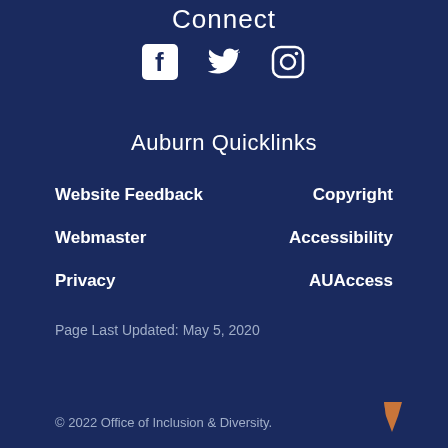Connect
[Figure (illustration): Social media icons: Facebook, Twitter, Instagram in white on dark navy background]
Auburn Quicklinks
Website Feedback
Copyright
Webmaster
Accessibility
Privacy
AUAccess
Page Last Updated: May 5, 2020
© 2022 Office of Inclusion & Diversity.